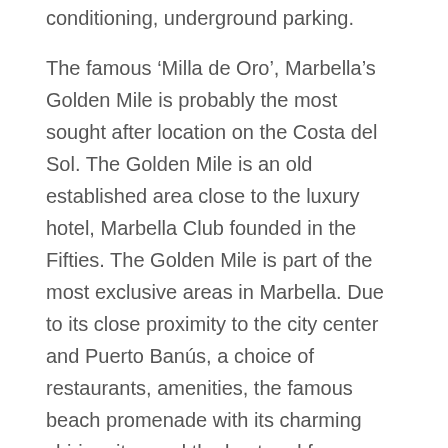conditioning, underground parking.
The famous ‘Milla de Oro’, Marbella’s Golden Mile is probably the most sought after location on the Costa del Sol. The Golden Mile is an old established area close to the luxury hotel, Marbella Club founded in the Fifties. The Golden Mile is part of the most exclusive areas in Marbella. Due to its close proximity to the city center and Puerto Banús, a choice of restaurants, amenities, the famous beach promenade with its charming chiringuitos and the best and famous hotels, there is a permanent demand for properties from all nationalities. The demand is usually higher than the supply.
The villa is surrounded by picturesque natural landscapes, wide beaches and renowned golf courses